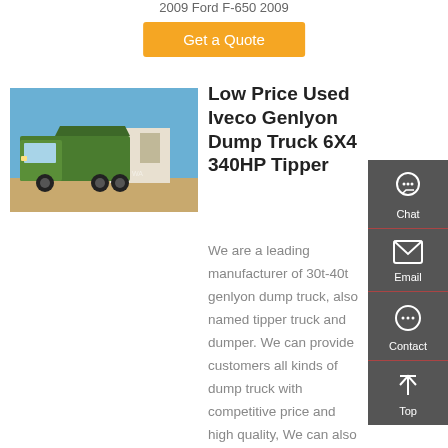2009 Ford F-650 2009
Get a Quote
[Figure (photo): Green Iveco Genlyon dump truck 6x4 tipper parked in a yard]
Low Price Used Iveco Genlyon Dump Truck 6X4 340HP Tipper
We are a leading manufacturer of 30t-40t genlyon dump truck, also named tipper truck and dumper. We can provide customers all kinds of dump truck with competitive price and high quality, We can also design for different kinds of genlyon